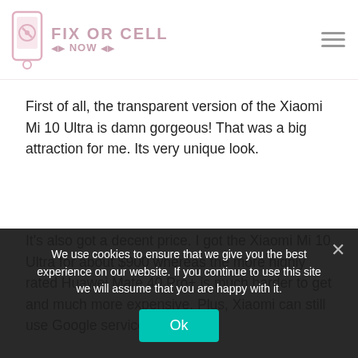FIX OR CELL NOW
First of all, the transparent version of the Xiaomi Mi 10 Ultra is damn gorgeous! That was a big attraction for me. Its very unique look.
It's also got a decent price. I got the Xiaomi Mi 10 Ultra for about $900 whereas the more highly rated Huawei Mate 40 Pro+ is much harder to get and much more expensive. Plus, Xiaomi can still use Google services
We use cookies to ensure that we give you the best experience on our website. If you continue to use this site we will assume that you are happy with it.